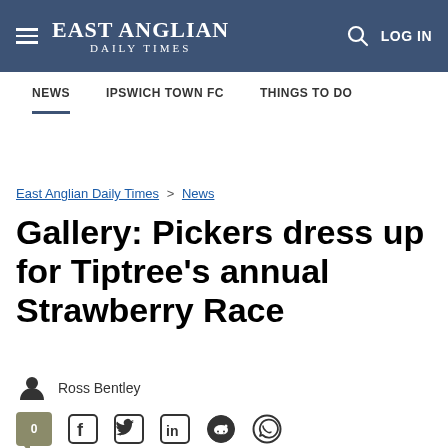East Anglian Daily Times — NEWS | IPSWICH TOWN FC | THINGS TO DO
East Anglian Daily Times > News
Gallery: Pickers dress up for Tiptree's annual Strawberry Race
Ross Bentley